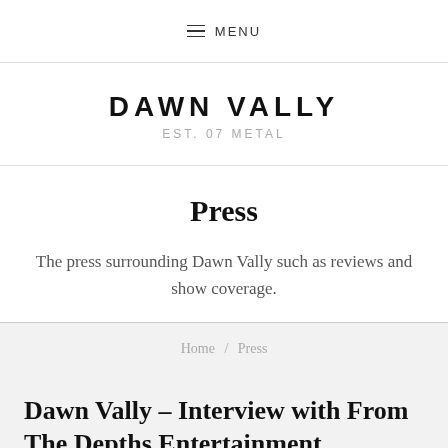MENU
DAWN VALLY
EST. 07 METAL
Press
The press surrounding Dawn Vally such as reviews and show coverage.
Home / Press
Dawn Vally – Interview with From The Depths Entertainment